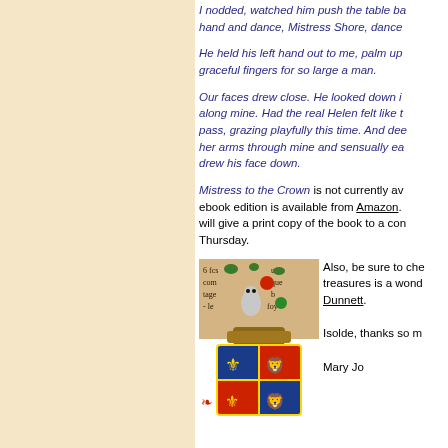[Figure (illustration): Left sidebar with pale cream/beige background, no content]
I nodded, watched him push the table back, held out my hand and dance, Mistress Shore, dance
He held his left hand out to me, palm up— graceful fingers for so large a man.
Our faces drew close. He looked down in along mine. Had the real Helen felt like t pass, grazing playfully this time. And dee her arms through mine and sensually ea drew his face down.
Mistress to the Crown is not currently av ebook edition is available from Amazon. will give a print copy of the book to a com Thursday.
[Figure (illustration): Medieval illuminated manuscript image showing a coat of arms with blue and red quartered shield with fleur-de-lis and lions, topped with a crowned helmet and decorative foliage with text fragments visible]
Also, be sure to che treasures is a wond Dunnett. Isolde, thanks so m Mary Jo